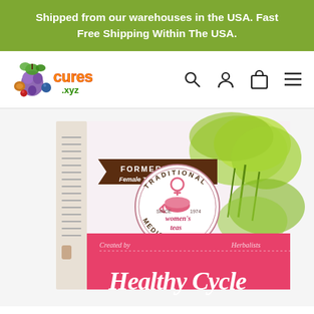Shipped from our warehouses in the USA. Fast Free Shipping Within The USA.
[Figure (logo): cures.xyz logo with colorful fruits and vegetables illustration, orange and yellow text 'cures' with '.xyz' in green]
[Figure (other): Navigation icons: search magnifying glass, user/account person icon, shopping cart/bag icon, hamburger menu icon]
[Figure (photo): Product photo of Traditional Medicinals women's teas 'Healthy Cycle' tea box (formerly Female Toner), pink and white packaging with green botanical illustration, circular brand logo showing 'TRADITIONAL MEDICINALS since 1974 women's teas', brown banner reading 'FORMERLY Female Toner', text 'Created by Herbalists' and partial 'Healthy Cycle' text at bottom]